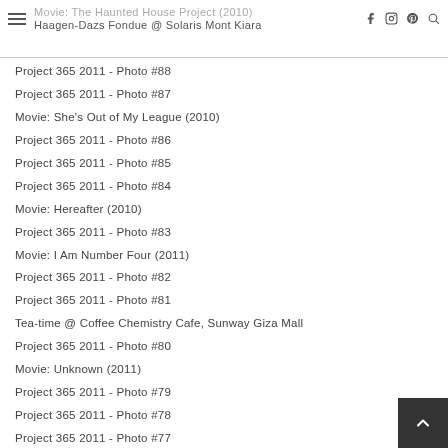Movie: The Haunted House Project (2010) | Haagen-Dazs Fondue @ Solaris Mont Kiara
Project 365 2011 - Photo #88
Project 365 2011 - Photo #87
Movie: She's Out of My League (2010)
Project 365 2011 - Photo #86
Project 365 2011 - Photo #85
Project 365 2011 - Photo #84
Movie: Hereafter (2010)
Project 365 2011 - Photo #83
Movie: I Am Number Four (2011)
Project 365 2011 - Photo #82
Project 365 2011 - Photo #81
Tea-time @ Coffee Chemistry Cafe, Sunway Giza Mall
Project 365 2011 - Photo #80
Movie: Unknown (2011)
Project 365 2011 - Photo #79
Project 365 2011 - Photo #78
Project 365 2011 - Photo #77